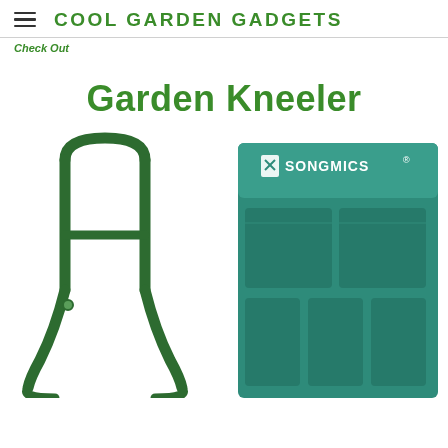COOL GARDEN GADGETS
Check Out
Garden Kneeler
[Figure (photo): Left side: green metal garden kneeler frame showing the upright handles from behind. Right side: teal/green SONGMICS branded fabric tool bag with multiple pockets attached to the kneeler.]